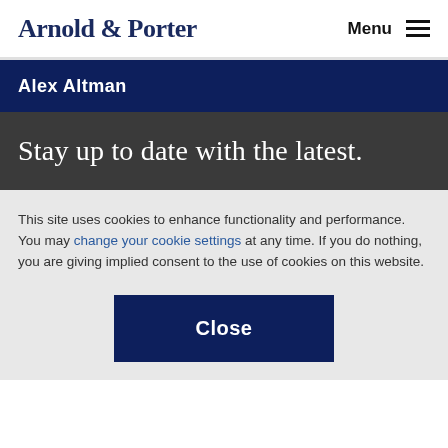Arnold & Porter  Menu
Alex Altman
Stay up to date with the latest.
This site uses cookies to enhance functionality and performance. You may change your cookie settings at any time. If you do nothing, you are giving implied consent to the use of cookies on this website.
Close